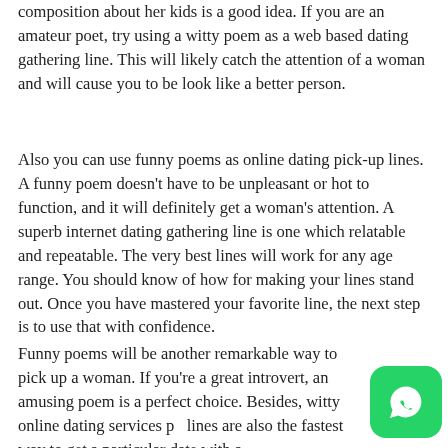composition about her kids is a good idea. If you are an amateur poet, try using a witty poem as a web based dating gathering line. This will likely catch the attention of a woman and will cause you to be look like a better person.
Also you can use funny poems as online dating pick-up lines. A funny poem doesn't have to be unpleasant or hot to function, and it will definitely get a woman's attention. A superb internet dating gathering line is one which relatable and repeatable. The very best lines will work for any age range. You should know of how for making your lines stand out. Once you have mastered your favorite line, the next step is to use that with confidence.
Funny poems will be another remarkable way to pick up a woman. If you're a great introvert, an amusing poem is a perfect choice. Besides, witty online dating services pick up lines are also the fastest way to get a particular date with a
[Figure (logo): WhatsApp logo button - green rounded square with white phone/chat icon]